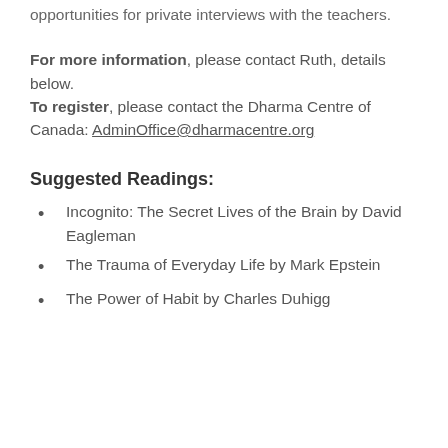opportunities for private interviews with the teachers.
For more information, please contact Ruth, details below.
To register, please contact the Dharma Centre of Canada: AdminOffice@dharmacentre.org
Suggested Readings:
Incognito: The Secret Lives of the Brain by David Eagleman
The Trauma of Everyday Life by Mark Epstein
The Power of Habit by Charles Duhigg